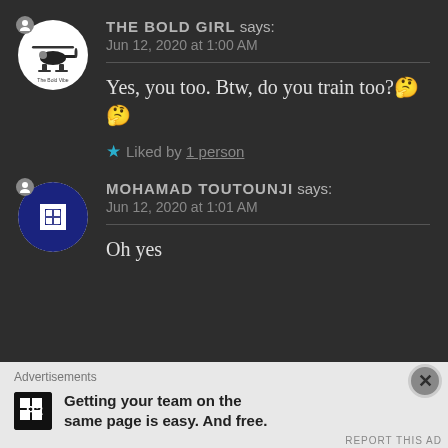THE BOLD GIRL says: Jun 12, 2020 at 1:00 AM
Yes, you too. Btw, do you train too?🤔🤔
Liked by 1 person
MOHAMAD TOUTOUNJI says: Jun 12, 2020 at 1:01 AM
Oh yes
Advertisements
Getting your team on the same page is easy. And free.